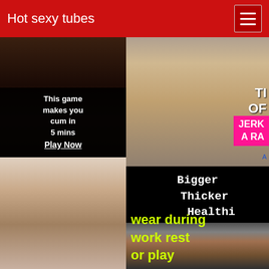Hot sexy tubes
[Figure (photo): Adult advertisement with animated/illustrated content and overlay text reading 'This game makes you cum in 5 mins Play Now']
[Figure (photo): Adult advertisement with animated character from behind]
[Figure (photo): Adult advertisement with partial text overlay 'TI OF G' and pink banner 'JERK A RA']
[Figure (photo): Adult advertisement with header 'Bigger Thicker Healthi' and yellow text 'wear during work rest or play']